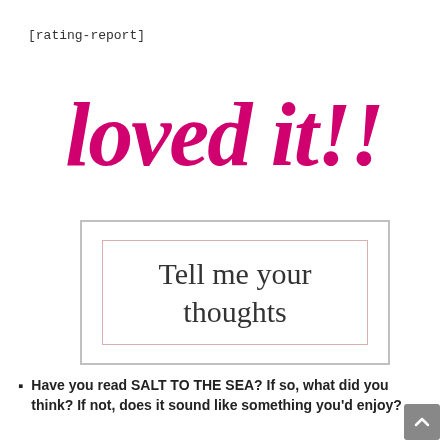[rating-report]
[Figure (illustration): Decorative script text reading 'loved it!!' in bold pink handwritten-style font]
Tell me your thoughts
Have you read SALT TO THE SEA? If so, what did you think? If not, does it sound like something you'd enjoy?